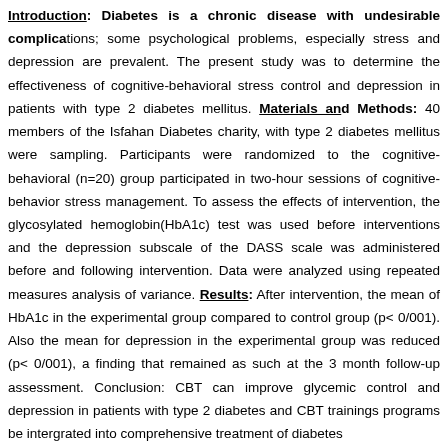Introduction: Diabetes is a chronic disease with undesirable complications; some psychological problems, especially stress and depression are prevalent. The present study was to determine the effectiveness of cognitive-behavioral stress control and depression in patients with type 2 diabetes mellitus. Materials and Methods: 40 members of the Isfahan Diabetes charity, with type 2 diabetes mellitus were sampling. Participants were randomized to the cognitive-behavioral (n=20) group participated in two-hour sessions of cognitive-behavior stress management. To assess the effects of intervention, the glycosylated hemoglobin(HbA1c) test was used before interventions and the depression subscale of the DASS scale was administered before and following intervention. Data were analyzed using repeated measures analysis of variance. Results: After intervention, the mean of HbA1c in the experimental group compared to control group (p< 0/001). Also the mean for depression in the experimental group was reduced (p< 0/001), a finding that remained as such at the 3 month follow-up assessment. Conclusion: CBT can improve glycemic control and depression in patients with type 2 diabetes and CBT trainings programs be intergrated into comprehensive treatment of diabetes
Keywords: Type 2 diabetes mellitus, Glycosylated hemoglobin, Stress management, Depression